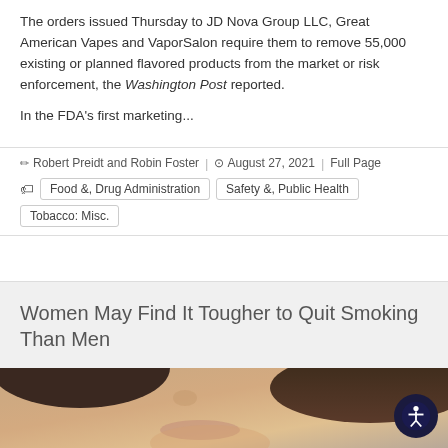The orders issued Thursday to JD Nova Group LLC, Great American Vapes and VaporSalon require them to remove 55,000 existing or planned flavored products from the market or risk enforcement, the Washington Post reported.

In the FDA's first marketing...
Robert Preidt and Robin Foster | August 27, 2021 | Full Page
Food &, Drug Administration   Safety &, Public Health   Tobacco: Misc.
Women May Find It Tougher to Quit Smoking Than Men
[Figure (photo): Close-up photo of a woman's face, partial view showing lower face and chin area]